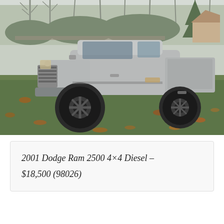[Figure (photo): Silver 2001 Dodge Ram 2500 pickup truck with a lift kit and black off-road wheels, parked on a grassy lawn with fallen leaves and bare trees in the background.]
2001 Dodge Ram 2500 4×4 Diesel – $18,500 (98026)